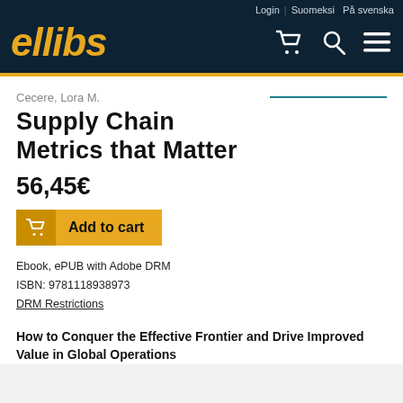ellibs | Login | Suomeksi | På svenska
Cecere, Lora M.
Supply Chain Metrics that Matter
56,45€
Add to cart
Ebook, ePUB with Adobe DRM
ISBN: 9781118938973
DRM Restrictions
How to Conquer the Effective Frontier and Drive Improved Value in Global Operations